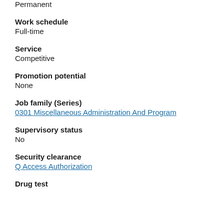Permanent
Work schedule
Full-time
Service
Competitive
Promotion potential
None
Job family (Series)
0301 Miscellaneous Administration And Program
Supervisory status
No
Security clearance
Q Access Authorization
Drug test